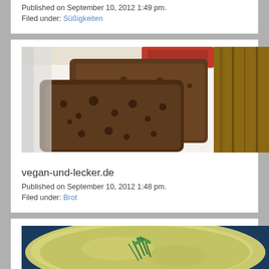Published on September 10, 2012 1:49 pm.
Filed under: Süßigkeiten
[Figure (photo): Slices of dark whole grain bread on a white surface with a wooden cutting board and red tin visible in background]
vegan-und-lecker.de
Published on September 10, 2012 1:48 pm.
Filed under: Brot
[Figure (photo): Creamy green soup in a dark bowl with green herb garnish]